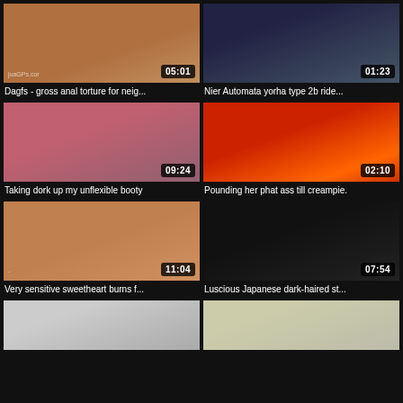[Figure (screenshot): Video thumbnail 1 - brownish tones, 05:01 duration]
Dagfs - gross anal torture for neig...
[Figure (screenshot): Video thumbnail 2 - dark blue tones, 01:23 duration]
Nier Automata yorha type 2b ride...
[Figure (screenshot): Video thumbnail 3 - pink/red tones, 09:24 duration]
Taking dork up my unflexible booty
[Figure (screenshot): Video thumbnail 4 - red/orange tones, 02:10 duration]
Pounding her phat ass till creampie.
[Figure (screenshot): Video thumbnail 5 - warm skin tones, 11:04 duration]
Very sensitive sweetheart burns f...
[Figure (screenshot): Video thumbnail 6 - black/dark, 07:54 duration]
Luscious Japanese dark-haired st...
[Figure (screenshot): Video thumbnail 7 - grey/light tones, partial]
[Figure (screenshot): Video thumbnail 8 - beige/skin tones, partial]